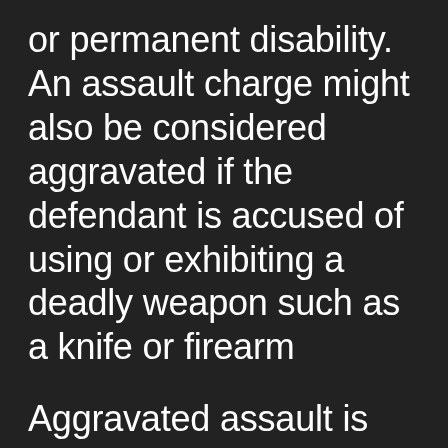or permanent disability. An assault charge might also be considered aggravated if the defendant is accused of using or exhibiting a deadly weapon such as a knife or firearm
Aggravated assault is considered a second-degree felony, punishable by up to 20 years in prison and fines of up to $10,000. Penalties for a first-degree felony of aggravated